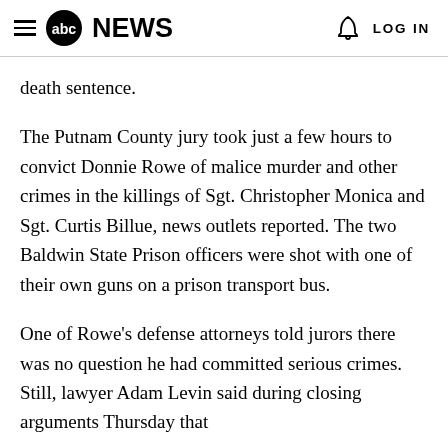abc NEWS  LOG IN
death sentence.
The Putnam County jury took just a few hours to convict Donnie Rowe of malice murder and other crimes in the killings of Sgt. Christopher Monica and Sgt. Curtis Billue, news outlets reported. The two Baldwin State Prison officers were shot with one of their own guns on a prison transport bus.
One of Rowe's defense attorneys told jurors there was no question he had committed serious crimes. Still, lawyer Adam Levin said during closing arguments Thursday that